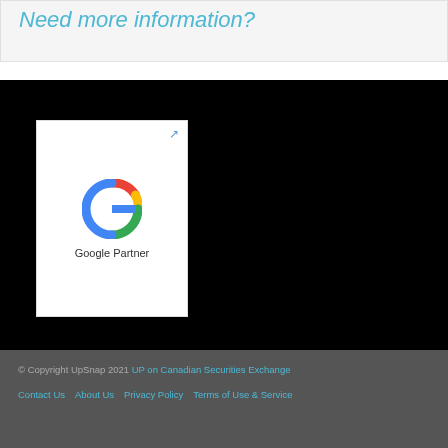Need more information?
[Figure (logo): Google Partner badge with Google G logo and text 'Google Partner' on white card background, with external link icon in top right corner]
© Copyright UpSnap 2021 UP on Canadian Securities Exchange
Contact Us   About Us   Privacy Policy   Terms of Use & Service